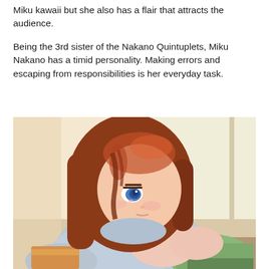Miku kawaii but she also has a flair that attracts the audience.
Being the 3rd sister of the Nakano Quintuplets, Miku Nakano has a timid personality. Making errors and escaping from responsibilities is her everyday task.
[Figure (illustration): Anime illustration of Miku Nakano, a girl with long reddish-brown hair and blue eyes, wearing a light blue hoodie/sweater and a green skirt, lying down with her chin resting on her hand, looking to the side. Background shows a bright window and indoor setting.]